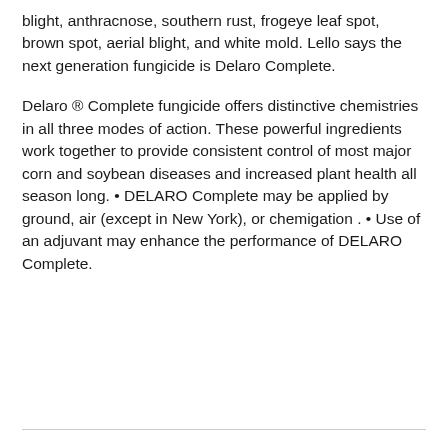blight, anthracnose, southern rust, frogeye leaf spot, brown spot, aerial blight, and white mold. Lello says the next generation fungicide is Delaro Complete.
Delaro ® Complete fungicide offers distinctive chemistries in all three modes of action. These powerful ingredients work together to provide consistent control of most major corn and soybean diseases and increased plant health all season long. • DELARO Complete may be applied by ground, air (except in New York), or chemigation . • Use of an adjuvant may enhance the performance of DELARO Complete.